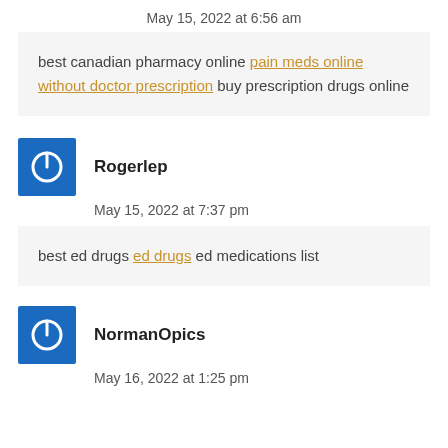May 15, 2022 at 6:56 am
best canadian pharmacy online pain meds online without doctor prescription buy prescription drugs online
[Figure (other): Blue square avatar icon with power button symbol]
Rogerlep
May 15, 2022 at 7:37 pm
best ed drugs ed drugs ed medications list
[Figure (other): Blue square avatar icon with power button symbol]
NormanOpics
May 16, 2022 at 1:25 pm